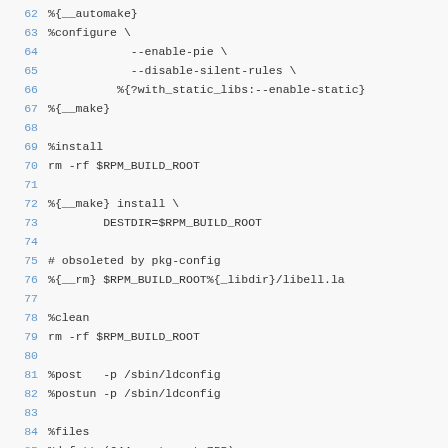Code listing lines 62-85 of an RPM spec file
62 %{__automake}
63 %configure \
64     --enable-pie \
65     --disable-silent-rules \
66     %{?with_static_libs:--enable-static}
67 %{__make}
68
69 %install
70 rm -rf $RPM_BUILD_ROOT
71
72 %{__make} install \
73         DESTDIR=$RPM_BUILD_ROOT
74
75 # obsoleted by pkg-config
76 %{__rm} $RPM_BUILD_ROOT%{_libdir}/libell.la
77
78 %clean
79 rm -rf $RPM_BUILD_ROOT
80
81 %post   -p /sbin/ldconfig
82 %postun -p /sbin/ldconfig
83
84 %files
85 %defattr(644,root,root,755)
86 %doc AUTHORS ChangeLog README TODO